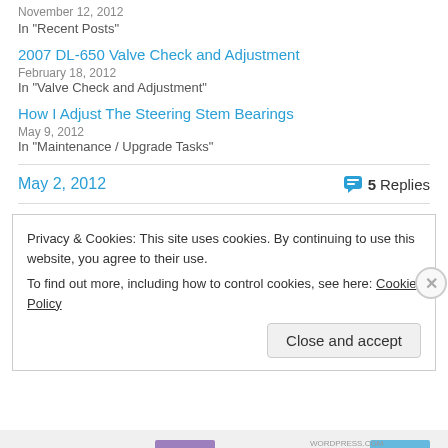November 12, 2012
In "Recent Posts"
2007 DL-650 Valve Check and Adjustment
February 18, 2012
In "Valve Check and Adjustment"
How I Adjust The Steering Stem Bearings
May 9, 2012
In "Maintenance / Upgrade Tasks"
May 2, 2012   5 Replies
Privacy & Cookies: This site uses cookies. By continuing to use this website, you agree to their use. To find out more, including how to control cookies, see here: Cookie Policy
Close and accept